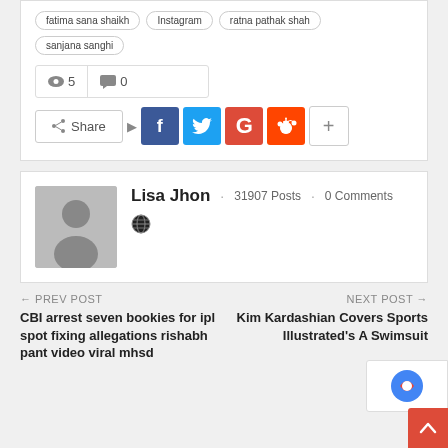fatima sana shaikh
Instagram
ratna pathak shah
sanjana sanghi
👁 5   💬 0
Share
Lisa Jhon · 31907 Posts · 0 Comments
PREV POST  CBI arrest seven bookies for ipl spot fixing allegations rishabh pant video viral mhsd
NEXT POST  Kim Kardashian Covers Sports Illustrated's A Swimsuit